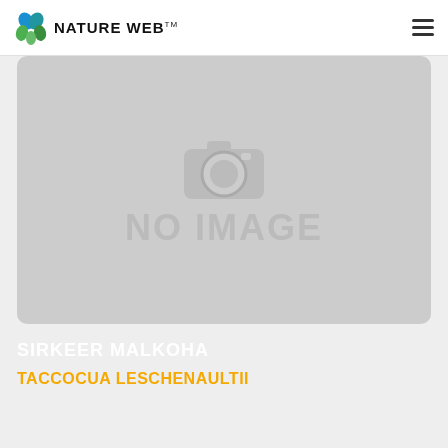NATURE WEB™
[Figure (photo): No image placeholder with camera icon and text 'NO IMAGE' for SIRKEER MALKOHA / TACCOCUA LESCHENAULTII on Nature Web website]
SIRKEER MALKOHA
TACCOCUA LESCHENAULTII